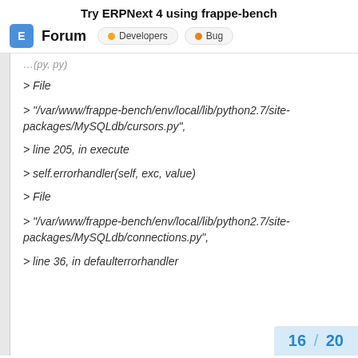Try ERPNext 4 using frappe-bench
Forum | Developers | Bug
> File
> "/var/www/frappe-bench/env/local/lib/python2.7/site-packages/MySQLdb/cursors.py",
> line 205, in execute
> self.errorhandler(self, exc, value)
> File
> "/var/www/frappe-bench/env/local/lib/python2.7/site-packages/MySQLdb/connections.py",
> line 36, in defaulterrorhandler
16 / 20